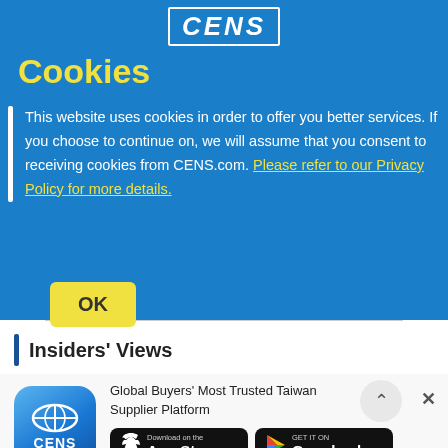CENS
Cookies
This website uses cookies in order to offer you better services. If you choose to continue on, we will assume that you consent to receiving cookies from CENS.com. Please refer to our Privacy Policy for more details.
OK
Insiders' Views
Global Buyers' Most Trusted Taiwan Supplier Platform
[Figure (logo): CENS app icon - blue rounded square with globe and CENS text]
[Figure (screenshot): Download on the App Store button]
[Figure (screenshot): GET IT ON Google Play button]